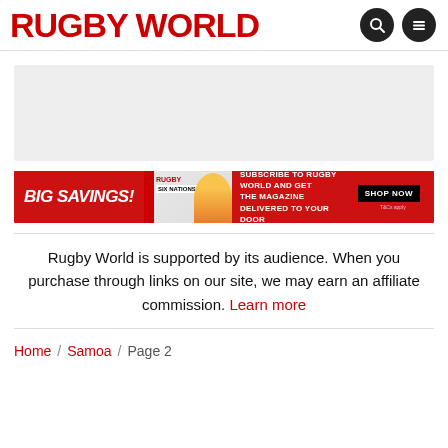RUGBY WORLD
[Figure (other): Grey advertisement placeholder box]
[Figure (other): Red banner advertisement: BIG SAVINGS! Subscribe to Rugby World and get the magazine delivered to your door. SHOP NOW.]
Rugby World is supported by its audience. When you purchase through links on our site, we may earn an affiliate commission. Learn more
Home / Samoa / Page 2